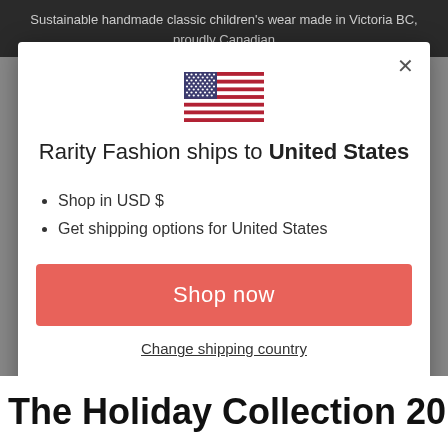Sustainable handmade classic children's wear made in Victoria BC, proudly Canadian
[Figure (screenshot): A modal dialog box showing a US flag icon, text 'Rarity Fashion ships to United States', bullet points 'Shop in USD $' and 'Get shipping options for United States', a red 'Shop now' button, and a 'Change shipping country' link. An X close button is in the top right corner.]
The Holiday Collection 2019